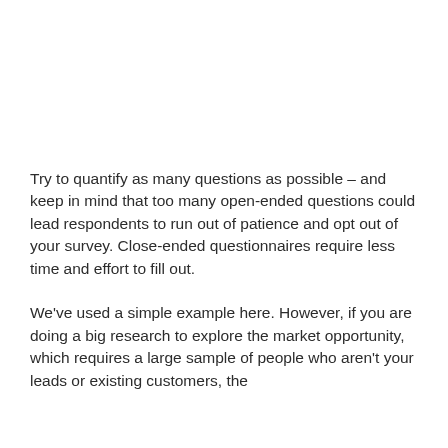Try to quantify as many questions as possible – and keep in mind that too many open-ended questions could lead respondents to run out of patience and opt out of your survey. Close-ended questionnaires require less time and effort to fill out.
We've used a simple example here. However, if you are doing a big research to explore the market opportunity, which requires a large sample of people who aren't your leads or existing customers, the